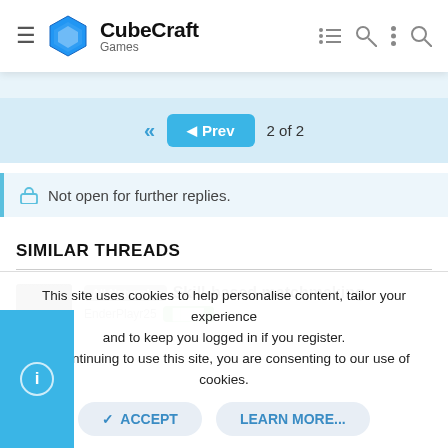CubeCraft Games
◄◄  ◄ Prev  2 of 2
Not open for further replies.
SIMILAR THREADS
All Networks  Skill-based matchmaking  EnderPlayr25
This site uses cookies to help personalise content, tailor your experience and to keep you logged in if you register. By continuing to use this site, you are consenting to our use of cookies.
✓ ACCEPT    LEARN MORE...